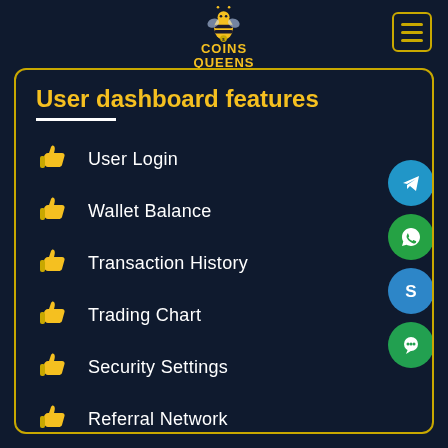[Figure (logo): Coins Queens logo with bee mascot character and golden text]
User dashboard features
User Login
Wallet Balance
Transaction History
Trading Chart
Security Settings
Referral Network
Payment Method